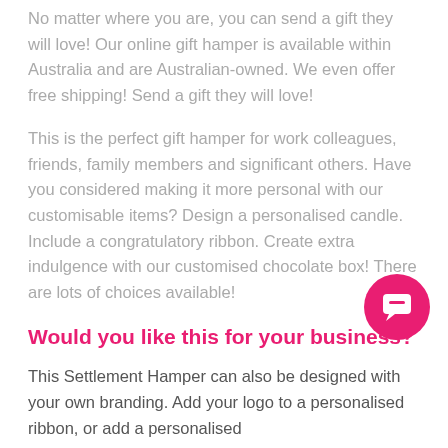No matter where you are, you can send a gift they will love! Our online gift hamper is available within Australia and are Australian-owned. We even offer free shipping! Send a gift they will love!
This is the perfect gift hamper for work colleagues, friends, family members and significant others. Have you considered making it more personal with our customisable items? Design a personalised candle. Include a congratulatory ribbon. Create extra indulgence with our customised chocolate box! There are lots of choices available!
Would you like this for your business?
This Settlement Hamper can also be designed with your own branding. Add your logo to a personalised ribbon, or add a personalised